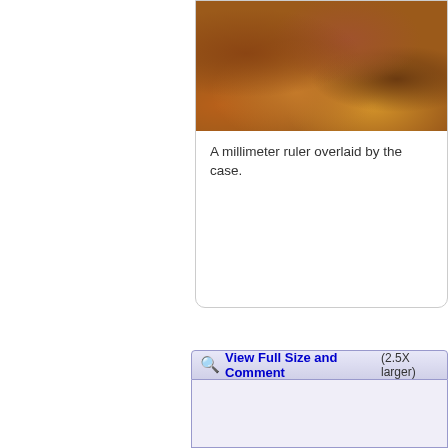[Figure (photo): Cropped close-up photograph of a skin lesion or case showing a rusty/brown textured surface, millimeter ruler overlaid]
A millimeter ruler overlaid by the case.
[Figure (photo): Full size microscopic or clinical photograph (2.5X larger view) showing pale background with peach and green-toned tissue structures in lower right corner]